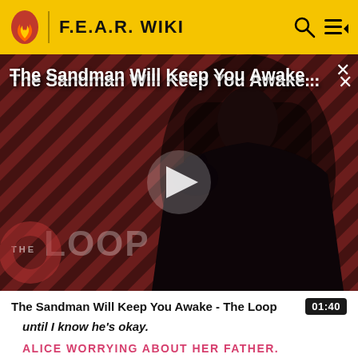F.E.A.R. WIKI
[Figure (screenshot): Video thumbnail for 'The Sandman Will Keep You Awake - The Loop' showing a dark-clad figure against a red and black striped background, with a play button overlay and The Loop watermark in the lower left.]
The Sandman Will Keep You Awake...
The Sandman Will Keep You Awake - The Loop   01:40
until I know he's okay.
ALICE WORRYING ABOUT HER FATHER.